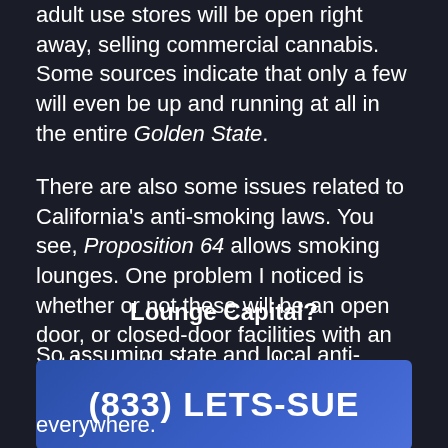adult use stores will be open right away, selling commercial cannabis. Some sources indicate that only a few will even be up and running at all in the entire Golden State.
There are also some issues related to California's anti-smoking laws. You see, Proposition 64 allows smoking lounges. One problem I noticed is whether or not these will be an open door, or closed-door facilities with an outdoor patio, for example.
Lounge Capital?
So assuming state and local anti-smoking ordinances do not preempt it, you might soon find cannabis lounges everywhere.
[Figure (infographic): Blue banner with phone number (833) LETS-SUE and a gold horizontal line below it]